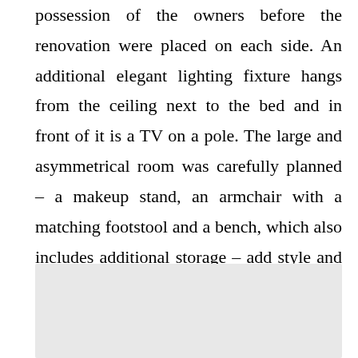possession of the owners before the renovation were placed on each side. An additional elegant lighting fixture hangs from the ceiling next to the bed and in front of it is a TV on a pole. The large and asymmetrical room was carefully planned – a makeup stand, an armchair with a matching footstool and a bench, which also includes additional storage – add style and function to every corner.
[Figure (photo): A light grey rectangular area representing a photograph, partially visible at the bottom of the page.]